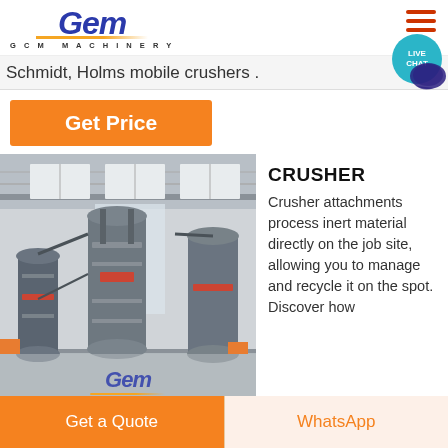[Figure (logo): GCM Machinery logo with blue stylized letters and gold underline]
Schmidt, Holms mobile crushers .
Get Price
[Figure (photo): Industrial factory photo showing large grey crushing/grinding machinery with GCM Machinery watermark logo]
CRUSHER
Crusher attachments process inert material directly on the job site, allowing you to manage and recycle it on the spot. Discover how
Get a Quote
WhatsApp